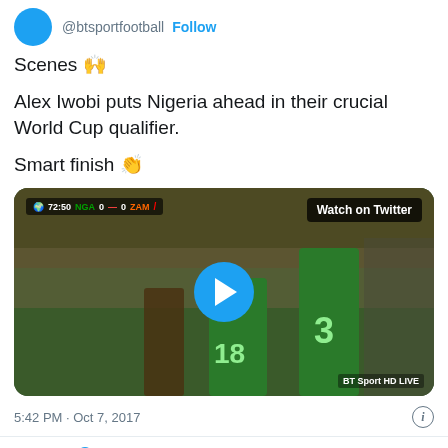@btsportfootball · Follow
Scenes 🙌
Alex Iwobi puts Nigeria ahead in their crucial World Cup qualifier.
Smart finish 👏
[Figure (screenshot): Video thumbnail showing Nigerian football players in green jerseys with numbers 18 and 3, scorebar showing 72:50 NGA 0-0 ZAM, play button overlay, Watch on Twitter button, BT Sport HD LIVE watermark]
5:42 PM · Oct 7, 2017
❤ 1.4K   Reply   Copy link